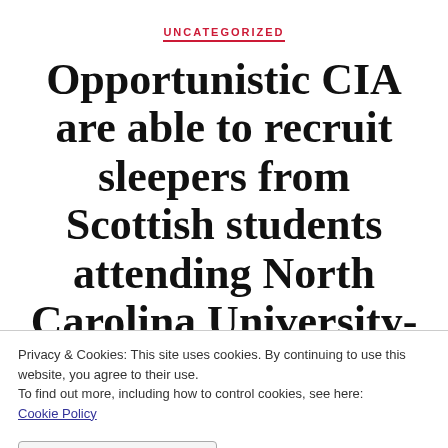UNCATEGORIZED
Opportunistic CIA are able to recruit sleepers from Scottish students attending North Carolina University- Anyone come to mind?
Privacy & Cookies: This site uses cookies. By continuing to use this website, you agree to their use.
To find out more, including how to control cookies, see here: Cookie Policy
CLOSE AND ACCEPT